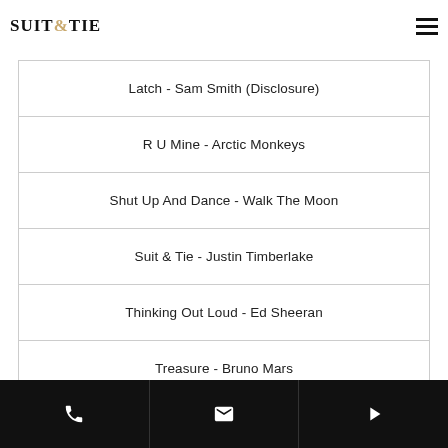SUIT&TIE
Latch - Sam Smith (Disclosure)
R U Mine - Arctic Monkeys
Shut Up And Dance - Walk The Moon
Suit & Tie - Justin Timberlake
Thinking Out Loud - Ed Sheeran
Treasure - Bruno Mars
Uptown Funk - Mark Ronson, Bruno Mars
Phone | Email | Play